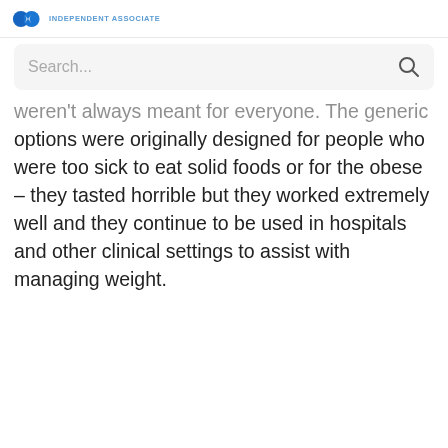INDEPENDENT ASSOCIATE
Search...
weren't always meant for everyone. The generic options were originally designed for people who were too sick to eat solid foods or for the obese – they tasted horrible but they worked extremely well and they continue to be used in hospitals and other clinical settings to assist with managing weight.